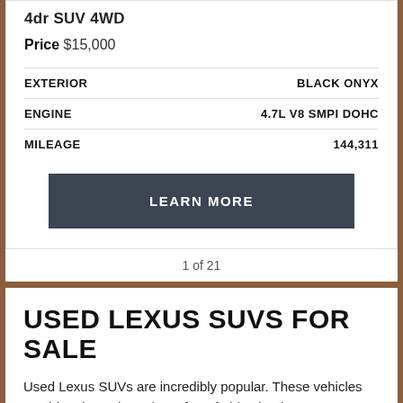4dr SUV 4WD
Price $15,000
|  |  |
| --- | --- |
| EXTERIOR | BLACK ONYX |
| ENGINE | 4.7L V8 SMPI DOHC |
| MILEAGE | 144,311 |
LEARN MORE
1 of 21
USED LEXUS SUVS FOR SALE
Used Lexus SUVs are incredibly popular. These vehicles combine the style and comfort of old-school Lexus cars with the durability and utility of a modern SUV. Our used Lexus RX 350...